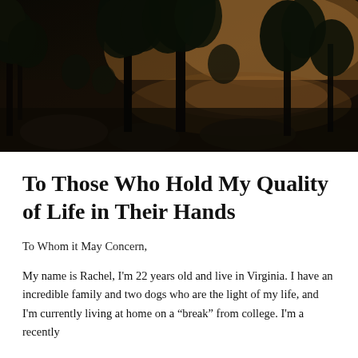[Figure (photo): Outdoor nature scene at dusk/dawn showing silhouetted trees and shrubs against a warm golden-orange sky reflected in water, with rocks in the foreground. Dark, moody lighting.]
To Those Who Hold My Quality of Life in Their Hands
To Whom it May Concern,
My name is Rachel, I'm 22 years old and live in Virginia. I have an incredible family and two dogs who are the light of my life, and I'm currently living at home on a “break” from college. I'm a recently